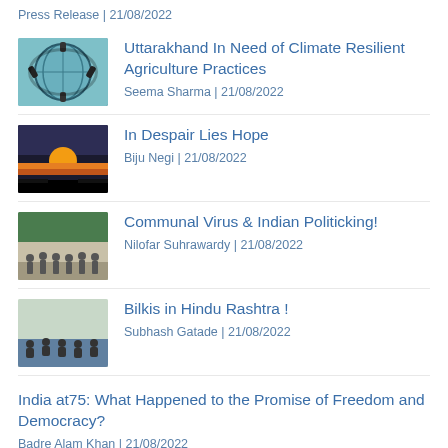Press Release | 21/08/2022
[Figure (photo): Globe illustration with dark figures around it]
Uttarakhand In Need of Climate Resilient Agriculture Practices
Seema Sharma | 21/08/2022
[Figure (photo): Sunset over water with dark foreground]
In Despair Lies Hope
Biju Negi | 21/08/2022
[Figure (photo): Group of people standing outside]
Communal Virus & Indian Politicking!
Nilofar Suhrawardy | 21/08/2022
[Figure (photo): Group of people seated together]
Bilkis in Hindu Rashtra !
Subhash Gatade | 21/08/2022
India at75: What Happened to the Promise of Freedom and Democracy?
Badre Alam Khan | 21/08/2022